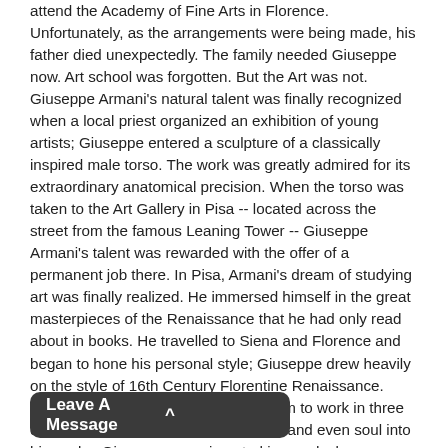attend the Academy of Fine Arts in Florence. Unfortunately, as the arrangements were being made, his father died unexpectedly. The family needed Giuseppe now. Art school was forgotten. But the Art was not. Giuseppe Armani's natural talent was finally recognized when a local priest organized an exhibition of young artists; Giuseppe entered a sculpture of a classically inspired male torso. The work was greatly admired for its extraordinary anatomical precision. When the torso was taken to the Art Gallery in Pisa -- located across the street from the famous Leaning Tower -- Giuseppe Armani's talent was rewarded with the offer of a permanent job there. In Pisa, Armani's dream of studying art was finally realized. He immersed himself in the great masterpieces of the Renaissance that he had only read about in books. He travelled to Siena and Florence and began to hone his personal style; Giuseppe drew heavily on the style of 16th Century Florentine Renaissance. Sculpture, Armani realized, allowed him to work in three dimensions. He infused life, character and even soul into his works. Giuseppe experimented in wood, clay, alabaster and marble and his reputation grew with each breathtaking creation. Art admirers soon started flocking to the gallery to see Armani's latest efforts. In 1975, the Florence Sculture d'Arte, recognizing Armani's genius, offered him the opportunity to work exclusively for them. He would be encouraged to give free rein to his artistic muse. Giuseppe Armani accepted. For more than 20 years Armani has created masterpieces ranging from traditional Capodimonte style to more daring, contemporary, sometimes whimsical sculptures. Always, Giuseppe infused his figurines with breathtaking realism -- with a spark of life. This continues to amaze even his many admirers the world over. Giuseppe Armani describes his [...]er myself a direct descendant of the [...] that an artist has to follow his own
Leave A Message ^